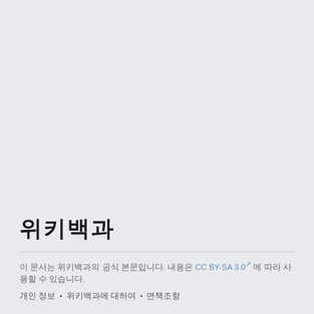위키백과
이 문서는 위키백과의 공식 본문입니다. 내용은 CC BY-SA 3.0 에 따라 사용할 수 있습니다.
개인 정보 • 위키백과에 대하여 • 면책조항